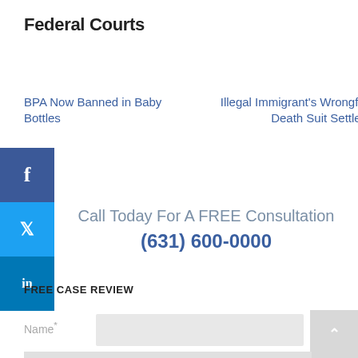Federal Courts
BPA Now Banned in Baby Bottles
Illegal Immigrant's Wrongful Death Suit Settled
Call Today For A FREE Consultation
(631) 600-0000
FREE CASE REVIEW
Name*